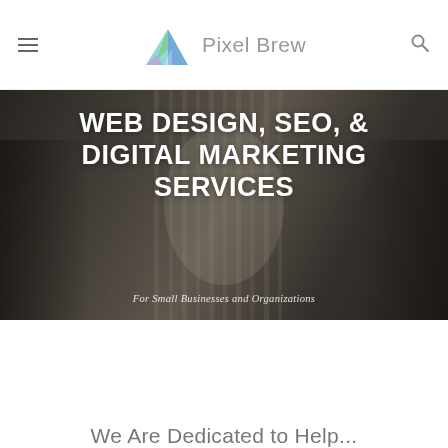Pixel Brew — navigation header with hamburger menu and search icon
[Figure (logo): Pixel Brew logo: colorful triangular arrow icon in blue, green, and purple/lavender with the text 'Pixel Brew' in light gray]
[Figure (photo): Hero banner image: dark-toned interior/industrial space with vertical slat details and bright light, people visible]
WEB DESIGN, SEO, & DIGITAL MARKETING SERVICES
For Small Businesses and Organizations
We Are Dedicated to Help...